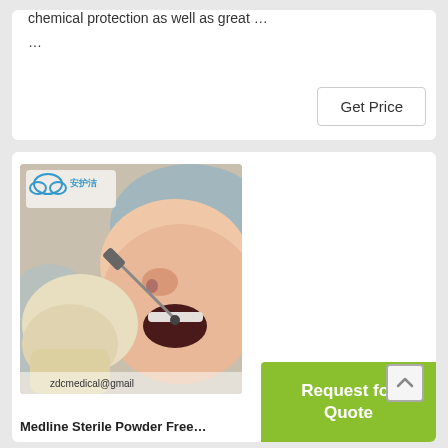chemical protection as well as great …
…
Get Price
[Figure (photo): Dental procedure photo showing a dentist in latex gloves using a dental tool in a patient's open mouth. A Chinese brand logo (安护洁) is overlaid in the top-left corner. An email address zdcmedical@gmail is partially visible at the bottom.]
Request for Quote
Medline Sterile Powder Free…